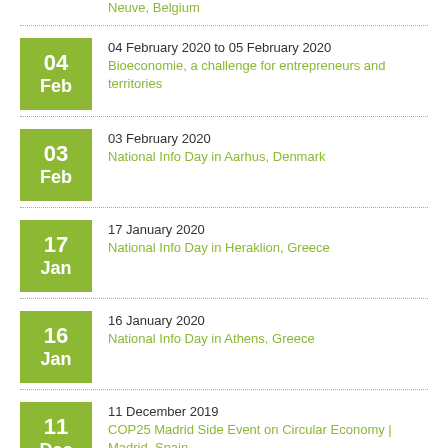Neuve, Belgium
04 February 2020 to 05 February 2020 — Bioeconomie, a challenge for entrepreneurs and territories
03 February 2020 — National Info Day in Aarhus, Denmark
17 January 2020 — National Info Day in Heraklion, Greece
16 January 2020 — National Info Day in Athens, Greece
11 December 2019 — COP25 Madrid Side Event on Circular Economy | Madrid, Spain